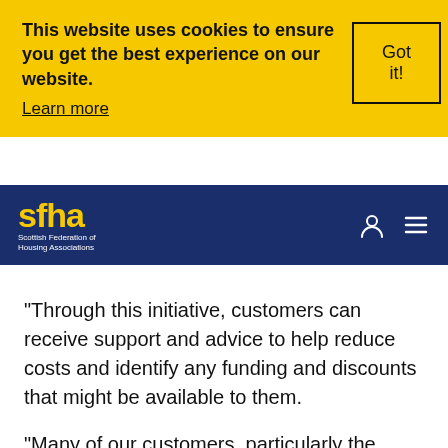Clyde Homes customers could benefit from additional credit being placed in their account. Siobhan Sneddon, Interim Inclusion Manager, said: "River Clyde Homes is delighted to
This website uses cookies to ensure you get the best experience on our website. Learn more  Got it!
sfha Scottish Federation of Housing Associations
“Through this initiative, customers can receive support and advice to help reduce costs and identify any funding and discounts that might be available to them.
“Many of our customers, particularly the elderly, may find themselves facing fuel poverty and we urge them to contact us today on 0800 013 2196 to see what we can do to help.”